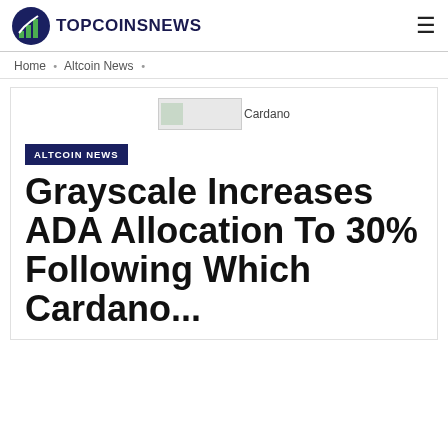TOPCOINSNEWS
Home › Altcoin News ›
[Figure (screenshot): Cardano coin image thumbnail with alt text 'Cardano']
ALTCOIN NEWS
Grayscale Increases ADA Allocation To 30% Following Which Cardano...